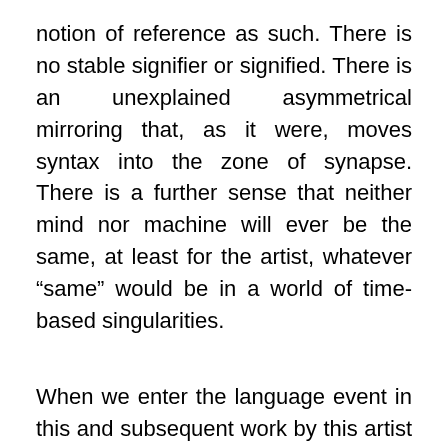notion of reference as such. There is no stable signifier or signified. There is an unexplained asymmetrical mirroring that, as it were, moves syntax into the zone of synapse. There is a further sense that neither mind nor machine will ever be the same, at least for the artist, whatever “same” would be in a world of time-based singularities.
When we enter the language event in this and subsequent work by this artist we realize that we are in the world of poetics, and the openness, complexity and subtlety of his language puts him in a category of his own. His connection with the work of poets during the period of this work has been often noted, and his language ontology—to use the concept that awkwardly straddles information technology and ontological